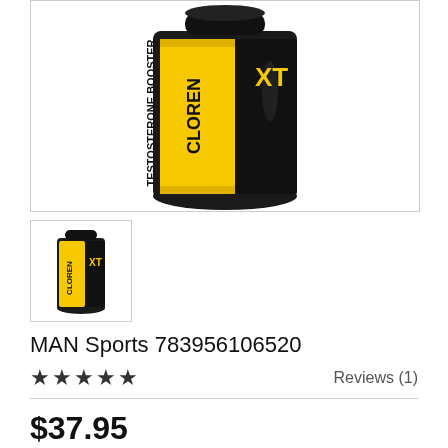[Figure (photo): Large product photo of MAN Sports Cloren XT testosterone booster supplement bottle with black and yellow label, top portion cropped]
[Figure (photo): Small thumbnail of the same MAN Sports Cloren XT supplement bottle]
MAN Sports 783956106520
★★★★★   Reviews (1)
$37.95